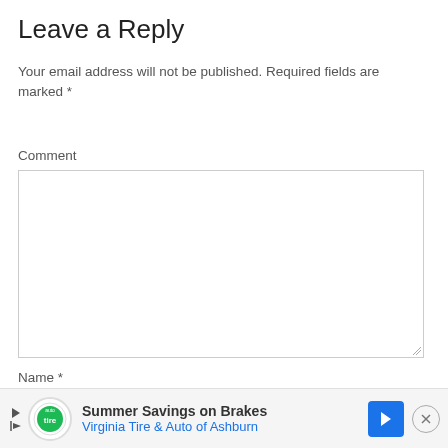Leave a Reply
Your email address will not be published. Required fields are marked *
Comment
Name *
[Figure (other): Advertisement banner: Summer Savings on Brakes – Virginia Tire & Auto of Ashburn, with play/pause buttons, circular logo, blue arrow icon, and close (x) button]